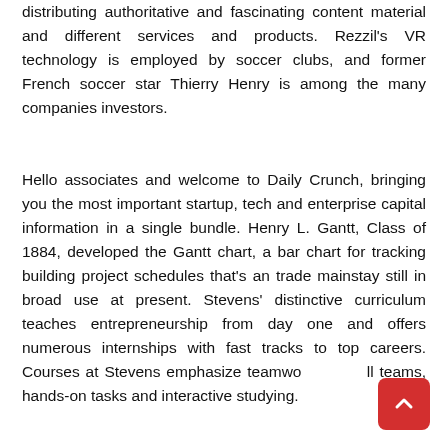distributing authoritative and fascinating content material and different services and products. Rezzil's VR technology is employed by soccer clubs, and former French soccer star Thierry Henry is among the many companies investors.
Hello associates and welcome to Daily Crunch, bringing you the most important startup, tech and enterprise capital information in a single bundle. Henry L. Gantt, Class of 1884, developed the Gantt chart, a bar chart for tracking building project schedules that's an trade mainstay still in broad use at present. Stevens' distinctive curriculum teaches entrepreneurship from day one and offers numerous internships with fast tracks to top careers. Courses at Stevens emphasize teamwork, small teams, hands-on tasks and interactive studying.